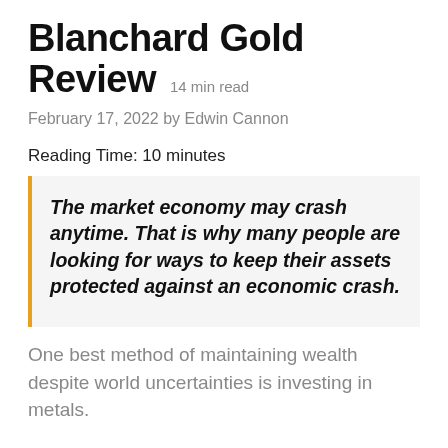Blanchard Gold Review 14 min read
February 17, 2022 by Edwin Cannon
Reading Time: 10 minutes
The market economy may crash anytime. That is why many people are looking for ways to keep their assets protected against an economic crash.
One best method of maintaining wealth despite world uncertainties is investing in metals.